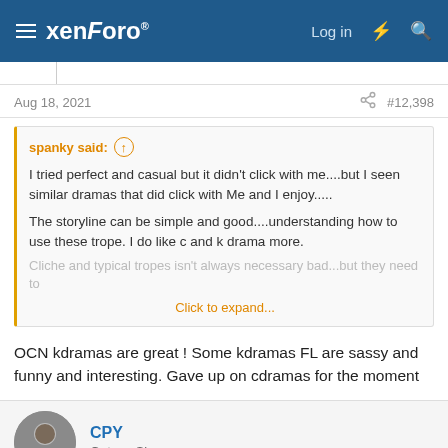xenForo — Log in
Aug 18, 2021   #12,398
spanky said: ↑

I tried perfect and casual but it didn't click with me....but I seen similar dramas that did click with Me and I enjoy.....

The storyline can be simple and good....understanding how to use these trope. I do like c and k drama more.

Cliche and typical tropes isn't always necessary bad...but they need to handle it

Click to expand...
OCN kdramas are great ! Some kdramas FL are sassy and funny and interesting. Gave up on cdramas for the moment
CPY
GotomySin